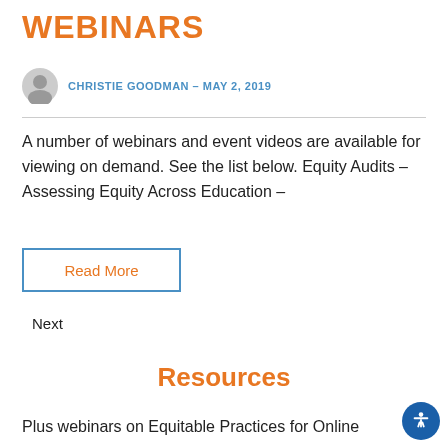WEBINARS
CHRISTIE GOODMAN – MAY 2, 2019
A number of webinars and event videos are available for viewing on demand. See the list below. Equity Audits – Assessing Equity Across Education –
Read More
Next
Resources
Plus webinars on Equitable Practices for Online